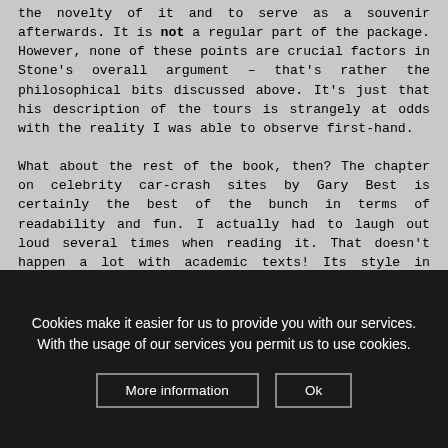the novelty of it and to serve as a souvenir afterwards. It is not a regular part of the package. However, none of these points are crucial factors in Stone's overall argument – that's rather the philosophical bits discussed above. It's just that his description of the tours is strangely at odds with the reality I was able to observe first-hand.

What about the rest of the book, then? The chapter on celebrity car-crash sites by Gary Best is certainly the best of the bunch in terms of readability and fun. I actually had to laugh out loud several times when reading it. That doesn't happen a lot with academic texts! Its style in general is highly entertaining and lucid. In a way this is the antithesis to Phil Stone's chapter. But that also applies the other way round. Best's text actually isn't very academic, neither in style
Cookies make it easier for us to provide you with our services. With the usage of our services you permit us to use cookies.